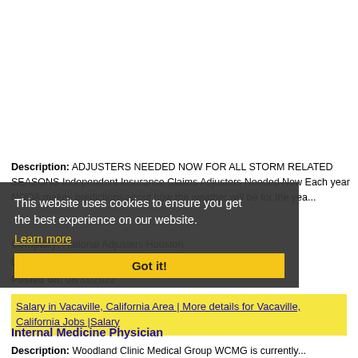Description: ADJUSTERS NEEDED NOW FOR ALL STORM RELATED SEASONS Independent Insurance Claims Adjusters Needed Now Each year NOOA makes predictions about how the weather will be for the yea...
Company: National Adjusters Houston
Location: West Sacramento
Posted on: 08/31/2022
This website uses cookies to ensure you get the best experience on our website. Learn more Got it!
Salary in Vacaville, California Area | More details for Vacaville, California Jobs |Salary
Internal Medicine Physician
Description: Woodland Clinic Medical Group WCMG is currently...